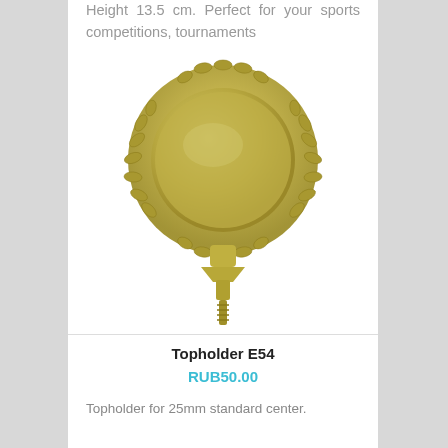Height 13.5 cm. Perfect for your sports competitions, tournaments
[Figure (photo): Gold trophy topholder E54 with laurel wreath surround and screw base, 25mm standard center]
Topholder E54
RUB50.00
Topholder for 25mm standard center.